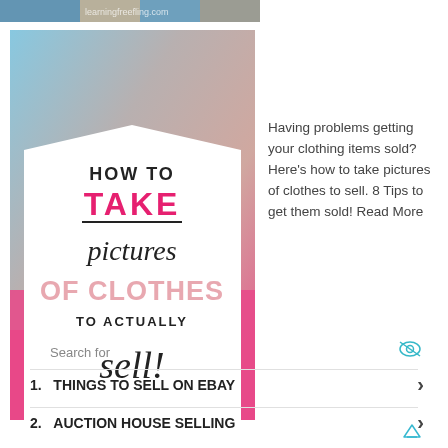[Figure (photo): Partial top strip showing clothing items photo]
[Figure (illustration): Blog post thumbnail image: 'HOW TO TAKE pictures OF CLOTHES TO ACTUALLY sell!' with pink and white design on clothing background]
Search for
Having problems getting your clothing items sold? Here's how to take pictures of clothes to sell. 8 Tips to get them sold! Read More
1.  THINGS TO SELL ON EBAY
2.  AUCTION HOUSE SELLING